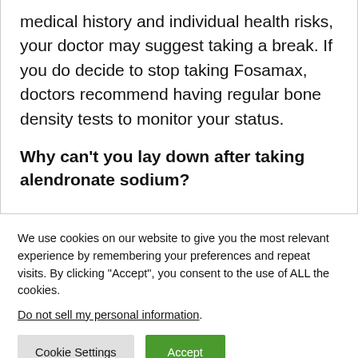medical history and individual health risks, your doctor may suggest taking a break. If you do decide to stop taking Fosamax, doctors recommend having regular bone density tests to monitor your status.
Why can't you lay down after taking alendronate sodium?
We use cookies on our website to give you the most relevant experience by remembering your preferences and repeat visits. By clicking "Accept", you consent to the use of ALL the cookies.
Do not sell my personal information.